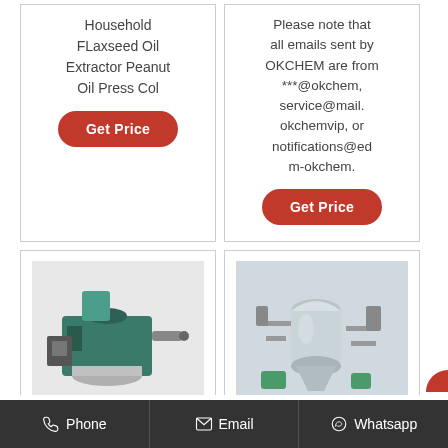Household FLaxseed Oil Extractor Peanut Oil Press Col
Get Price
Please note that all emails sent by OKCHEM are from ***@okchem, service@mail.okchemvip, or notifications@edm-okchem.
Get Price
[Figure (photo): Industrial oil press machine, green/teal colored, with mechanical components]
[Figure (photo): Industrial chemical/oil processing facility with large silver tanks and equipment]
Phone   Email   Whatsapp